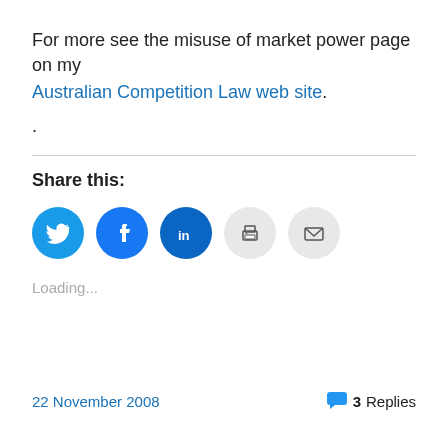For more see the misuse of market power page on my Australian Competition Law web site.
.
Share this:
[Figure (infographic): Social share icons: Twitter (blue circle with bird), Facebook (blue circle with f), LinkedIn (dark blue circle with in), Print (gray circle with printer), Email (gray circle with envelope)]
Loading...
22 November 2008   3 Replies